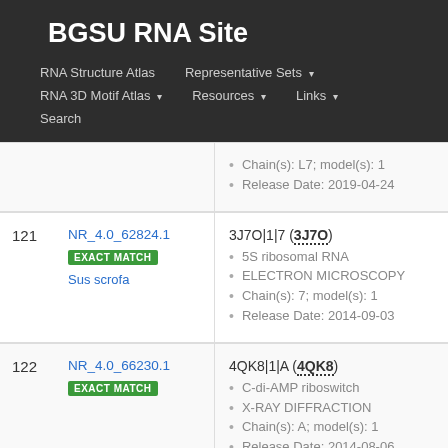BGSU RNA Site
RNA Structure Atlas | Representative Sets ▾ | RNA 3D Motif Atlas ▾ | Resources ▾ | Links ▾ | Search
Chain(s): L7; model(s): 1
Release Date: 2019-04-24
121
NR_4.0_62824.1
EXACT MATCH
Sus scrofa
3J7O|1|7 (3J7O)
5S ribosomal RNA
ELECTRON MICROSCOPY
Chain(s): 7; model(s): 1
Release Date: 2014-09-03
122
NR_4.0_66230.1
EXACT MATCH
4QK8|1|A (4QK8)
C-di-AMP riboswitch
X-RAY DIFFRACTION
Chain(s): A; model(s): 1
Release Date: 2014-08-06